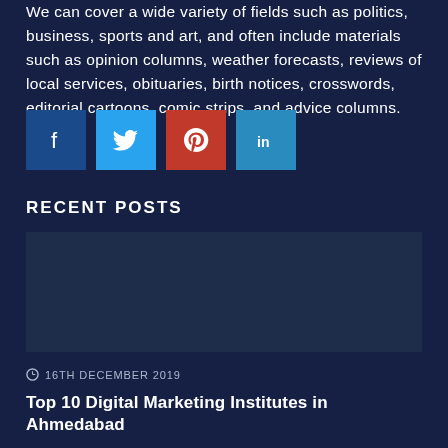We can cover a wide variety of fields such as politics, business, sports and art, and often include materials such as opinion columns, weather forecasts, reviews of local services, obituaries, birth notices, crosswords, editorial cartoons, comic strips, and advice columns.
[Figure (infographic): Row of four social media share buttons: Facebook (dark blue), Twitter (light blue), Pinterest (red), LinkedIn (light blue)]
RECENT POSTS
[Figure (photo): Placeholder image area for a recent post thumbnail]
16TH DECEMBER 2019
Top 10 Digital Marketing Institutes in Ahmedabad